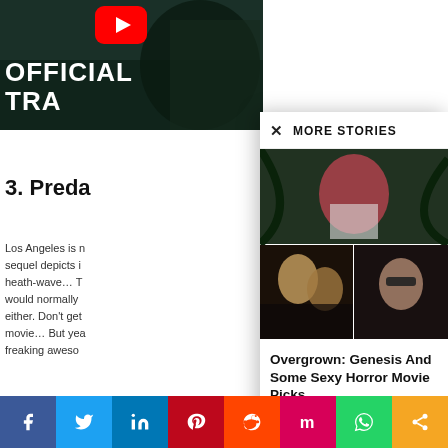[Figure (screenshot): Dark movie/game scene with armored figure, YouTube play button overlay, partially visible video thumbnail with text OFFICIAL TRA...]
3. Preda
Los Angeles is n... sequel depicts i... heath-wave… T... would normally ... either. Don't get... movie… But yea... freaking aweso...
[Figure (screenshot): More Stories panel showing article with anime/horror imagery: top panel shows red-haired anime girl fighting, bottom-left shows two people with long hair in dark scene, bottom-right shows person with sunglasses]
Overgrown: Genesis And Some Sexy Horror Movie Picks
Suzana Iazarevska - July 30, 2020
[Figure (infographic): Social media sharing bar with icons for Facebook, Twitter, LinkedIn, Pinterest, Reddit, Mix, WhatsApp, Share]